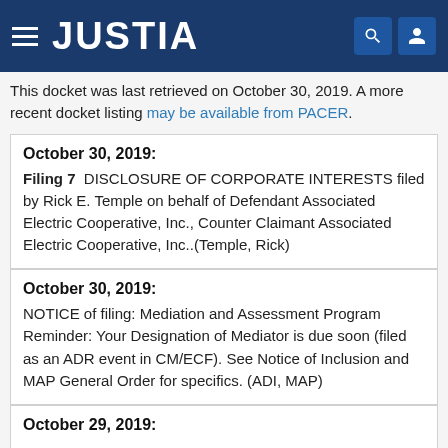JUSTIA
This docket was last retrieved on October 30, 2019. A more recent docket listing may be available from PACER.
| October 30, 2019: | Filing 7  DISCLOSURE OF CORPORATE INTERESTS filed by Rick E. Temple on behalf of Defendant Associated Electric Cooperative, Inc., Counter Claimant Associated Electric Cooperative, Inc..(Temple, Rick) |
| October 30, 2019: | NOTICE of filing: Mediation and Assessment Program Reminder: Your Designation of Mediator is due soon (filed as an ADR event in CM/ECF). See Notice of Inclusion and MAP General Order for specifics. (ADI, MAP) |
| October 29, 2019: |  |